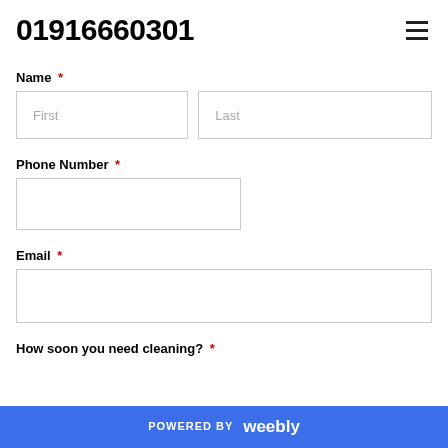01916660301
Name *
Phone Number *
Email *
How soon you need cleaning? *
POWERED BY weebly